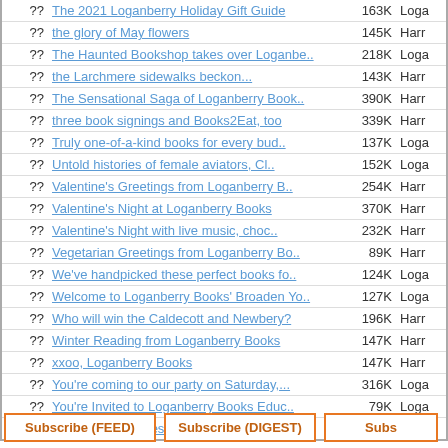| ?? | Title | Reach | Who |
| --- | --- | --- | --- |
| ?? | The 2021 Loganberry Holiday Gift Guide | 163K | Loga |
| ?? | the glory of May flowers | 145K | Harr |
| ?? | The Haunted Bookshop takes over Loganbe.. | 218K | Loga |
| ?? | the Larchmere sidewalks beckon... | 143K | Harr |
| ?? | The Sensational Saga of Loganberry Book.. | 390K | Harr |
| ?? | three book signings and Books2Eat, too | 339K | Harr |
| ?? | Truly one-of-a-kind books for every bud.. | 137K | Loga |
| ?? | Untold histories of female aviators, Cl.. | 152K | Loga |
| ?? | Valentine's Greetings from Loganberry B.. | 254K | Harr |
| ?? | Valentine's Night at Loganberry Books | 370K | Harr |
| ?? | Valentine's Night with live music, choc.. | 232K | Harr |
| ?? | Vegetarian Greetings from Loganberry Bo.. | 89K | Harr |
| ?? | We've handpicked these perfect books fo.. | 124K | Loga |
| ?? | Welcome to Loganberry Books' Broaden Yo.. | 127K | Loga |
| ?? | Who will win the Caldecott and Newbery? | 196K | Harr |
| ?? | Winter Reading from Loganberry Books | 147K | Harr |
| ?? | xxoo, Loganberry Books | 147K | Harr |
| ?? | You're coming to our party on Saturday,... | 316K | Loga |
| ?? | You're Invited to Loganberry Books Educ.. | 79K | Loga |
| ?? | ~ Edible Books Festival ~ | 104K | Harr |
Subscribe (FEED)
Subscribe (DIGEST)
Subs